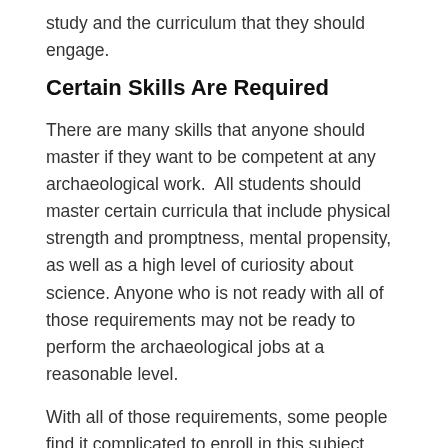study and the curriculum that they should engage.
Certain Skills Are Required
There are many skills that anyone should master if they want to be competent at any archaeological work.  All students should master certain curricula that include physical strength and promptness, mental propensity, as well as a high level of curiosity about science. Anyone who is not ready with all of those requirements may not be ready to perform the archaeological jobs at a reasonable level.
With all of those requirements, some people find it complicated to enroll in this subject. This is particularly when they know that archaeological study or job relates to the ancient artifacts. The fact is that archaeology deals more than just working on such a